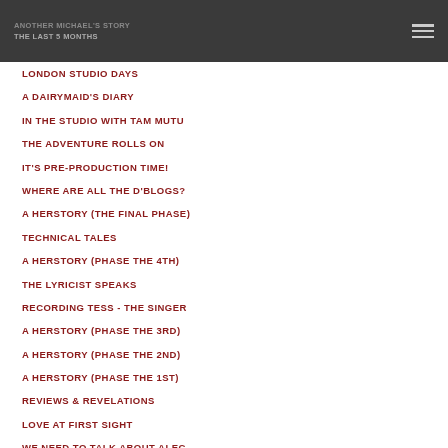ANOTHER MICHAEL'S STORY
THE LAST 5 MONTHS
LONDON STUDIO DAYS
A DAIRYMAID'S DIARY
IN THE STUDIO WITH TAM MUTU
THE ADVENTURE ROLLS ON
IT'S PRE-PRODUCTION TIME!
WHERE ARE ALL THE D'BLOGS?
A HERSTORY (THE FINAL PHASE)
TECHNICAL TALES
A HERSTORY (PHASE THE 4TH)
THE LYRICIST SPEAKS
RECORDING TESS - THE SINGER
A HERSTORY (PHASE THE 3RD)
A HERSTORY (PHASE THE 2ND)
A HERSTORY (PHASE THE 1ST)
REVIEWS & REVELATIONS
LOVE AT FIRST SIGHT
WE NEED TO TALK ABOUT ALEC